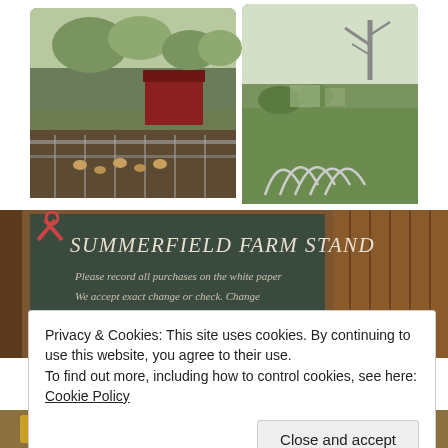[Figure (photo): Two side-by-side farm photos: left shows a red barn with chickens and garden beds behind chain-link fencing; right shows a green field with hoop structures and bare trees in the background.]
[Figure (photo): A chalkboard sign at a farm stand reading 'Summerfield Farm Stand. Please record all purchases on the white paper. We accept exact change or check. Change available at the office.' Framed in wood on the right side.]
Privacy & Cookies: This site uses cookies. By continuing to use this website, you agree to their use.
To find out more, including how to control cookies, see here: Cookie Policy
[Figure (photo): Partial bottom strip of farm stand items — colorful produce/goods visible at bottom edge.]